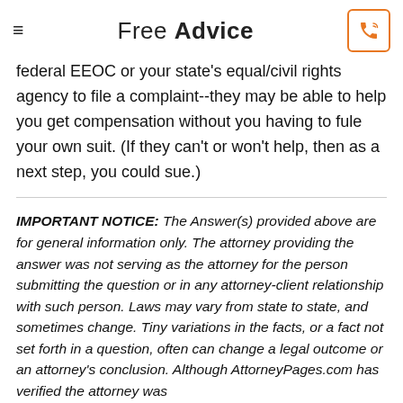Free Advice
federal EEOC or your state's equal/civil rights agency to file a complaint--they may be able to help you get compensation without you having to fule your own suit. (If they can't or won't help, then as a next step, you could sue.)
IMPORTANT NOTICE: The Answer(s) provided above are for general information only. The attorney providing the answer was not serving as the attorney for the person submitting the question or in any attorney-client relationship with such person. Laws may vary from state to state, and sometimes change. Tiny variations in the facts, or a fact not set forth in a question, often can change a legal outcome or an attorney's conclusion. Although AttorneyPages.com has verified the attorney was